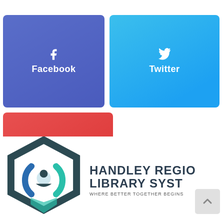[Figure (infographic): Facebook social media button: blue rounded rectangle with Facebook 'f' icon and text 'Facebook']
[Figure (infographic): Twitter social media button: light blue rounded rectangle with Twitter bird icon and text 'Twitter']
[Figure (infographic): Youtube social media button: red rounded rectangle with YouTube play button icon and text 'Youtube']
[Figure (logo): Handley Regional Library System logo: hexagonal icon with circular arrows and a person silhouette in teal, blue and dark teal colors, accompanied by text 'HANDLEY REGIONAL LIBRARY SYSTEM']